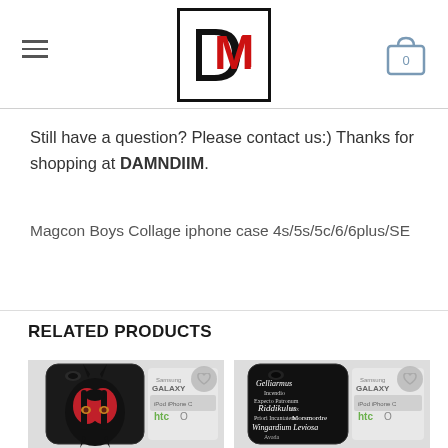[Figure (logo): DAMNDIIM logo — red and black DM monogram in a square border frame]
Still have a question? Please contact us:) Thanks for shopping at DAMNDIIM.
Magcon Boys Collage iphone case 4s/5s/5c/6/6plus/SE
RELATED PRODUCTS
[Figure (photo): Phone case with Darth Maul (Star Wars) design — red and black face with Samsung Galaxy, iPod iPhone, HTC options shown]
[Figure (photo): Phone case with Harry Potter spells typography on black background — Samsung Galaxy, iPod iPhone, HTC options shown]